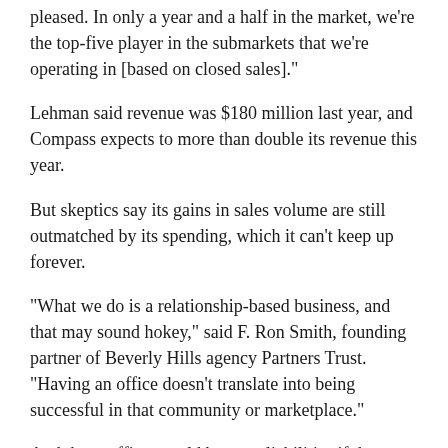pleased. In only a year and a half in the market, we're the top-five player in the submarkets that we're operating in [based on closed sales]."
Lehman said revenue was $180 million last year, and Compass expects to more than double its revenue this year.
But skeptics say its gains in sales volume are still outmatched by its spending, which it can't keep up forever.
“What we do is a relationship-based business, and that may sound hokey,” said F. Ron Smith, founding partner of Beverly Hills agency Partners Trust. “Having an office doesn’t translate into being successful in that community or marketplace.”
And those offices could become liabilities if the market softens substantially.
“Each office is an asset,” said competitor Nourmand. “In a bad market, each asset is a liability. Unless you have money at your disposal, in a bad market you’re going to bleed to death.”